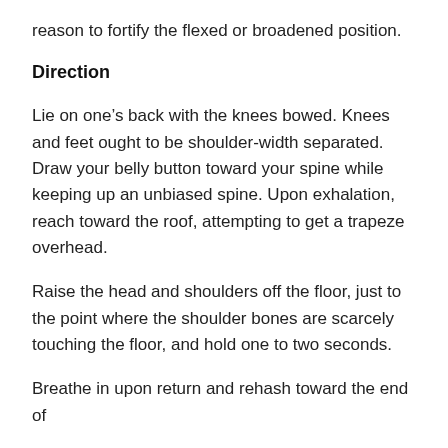reason to fortify the flexed or broadened position.
Direction
Lie on one’s back with the knees bowed. Knees and feet ought to be shoulder-width separated. Draw your belly button toward your spine while keeping up an unbiased spine. Upon exhalation, reach toward the roof, attempting to get a trapeze overhead.
Raise the head and shoulders off the floor, just to the point where the shoulder bones are scarcely touching the floor, and hold one to two seconds.
Breathe in upon return and rehash toward the end of